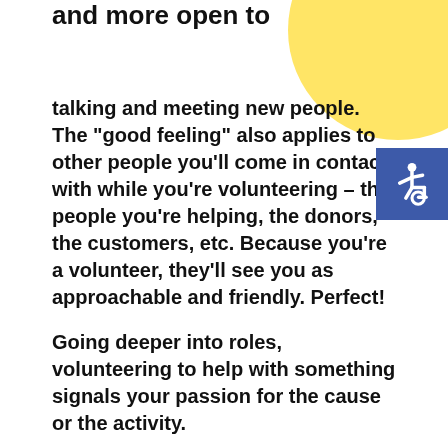and more open to
[Figure (illustration): Yellow circle decoration in top right corner of page]
[Figure (illustration): Blue square with white wheelchair accessibility icon]
talking and meeting new people. The "good feeling" also applies to other people you'll come in contact with while you're volunteering – the people you're helping, the donors, the customers, etc. Because you're a volunteer, they'll see you as approachable and friendly. Perfect!
Going deeper into roles, volunteering to help with something signals your passion for the cause or the activity.
For example, while volunteering at a beach clean-up, it's likely that other volunteers will want to talk to you about things like the best snorkelling places, other outdoor activities,